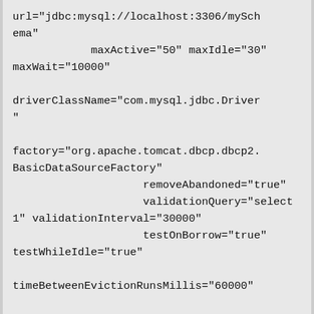url="jdbc:mysql://localhost:3306/mySchema"
            maxActive="50" maxIdle="30" maxWait="10000"

driverClassName="com.mysql.jdbc.Driver"

factory="org.apache.tomcat.dbcp.dbcp2.BasicDataSourceFactory"
                    removeAbandoned="true"
                    validationQuery="select 1" validationInterval="30000"
                    testOnBorrow="true" testWhileIdle="true"

timeBetweenEvictionRunsMillis="60000"

numTestsPerEvictionRun="5"

poolPreparedStatements="true"